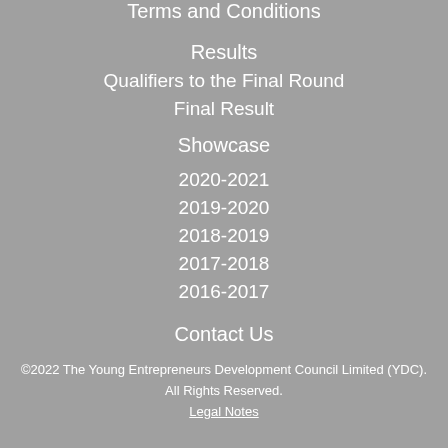Terms and Conditions
Results
Qualifiers to the Final Round
Final Result
Showcase
2020-2021
2019-2020
2018-2019
2017-2018
2016-2017
Contact Us
©2022 The Young Entrepreneurs Development Council Limited (YDC). All Rights Reserved. Legal Notes